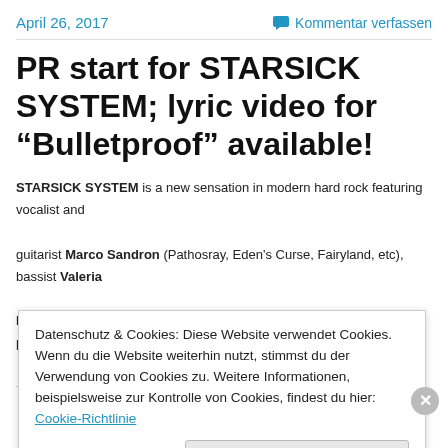April 26, 2017   Kommentar verfassen
PR start for STARSICK SYSTEM; lyric video for “Bulletproof” available!
STARSICK SYSTEM is a new sensation in modern hard rock featuring vocalist and guitarist Marco Sandron (Pathosray, Eden’s Curse, Fairyland, etc), bassist Valeria Battain and lead guitarist David Donati (both known in Syrayde) plus producer,
Datenschutz & Cookies: Diese Website verwendet Cookies. Wenn du die Website weiterhin nutzt, stimmst du der Verwendung von Cookies zu. Weitere Informationen, beispielsweise zur Kontrolle von Cookies, findest du hier: Cookie-Richtlinie
Schließen und Akzeptieren